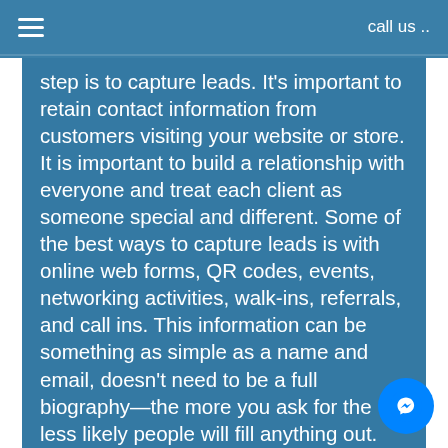call us ..
step is to capture leads. It's important to retain contact information from customers visiting your website or store. It is important to build a relationship with everyone and treat each client as someone special and different. Some of the best ways to capture leads is with online web forms, QR codes, events, networking activities, walk-ins, referrals, and call ins. This information can be something as simple as a name and email, doesn't need to be a full biography—the more you ask for the less likely people will fill anything out.
Stage 3: Nurture Prospects
With the leads you collect, what do you do with them? Most businesses will contact the a couple times, but trash the prospects that